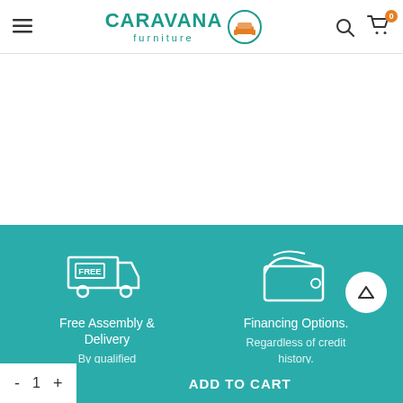[Figure (logo): Caravana Furniture logo with teal text and orange sofa icon in circle]
[Figure (infographic): Free Assembly and Delivery icon - white outline truck with FREE text and delivery icon on teal background]
Free Assembly & Delivery
By qualified personnel.
[Figure (infographic): Financing Options icon - white outline wallet on teal background]
Financing Options.
Regardless of credit history.